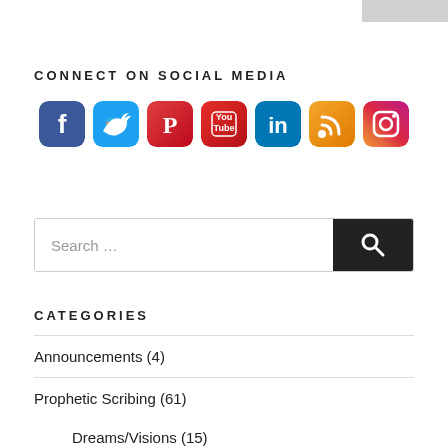[Figure (illustration): Grey rectangle in top-right corner, likely an advertisement placeholder]
CONNECT ON SOCIAL MEDIA
[Figure (infographic): Row of 7 social media icon buttons: Facebook (blue), Twitter (light blue), Pinterest (red/pink), YouTube (red), LinkedIn (blue), RSS (orange), Instagram (pink/orange gradient)]
[Figure (other): Search bar with text 'Search ...' and a black search button with magnifying glass icon]
CATEGORIES
Announcements (4)
Prophetic Scribing (61)
Dreams/Visions (15)